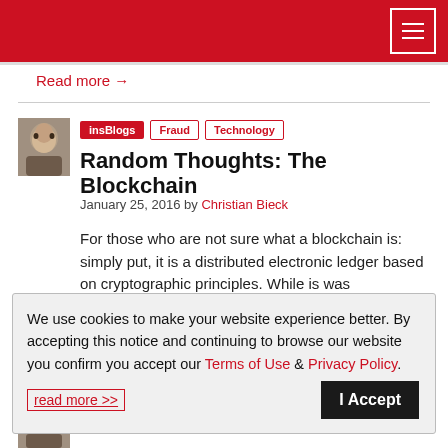insBlogs website header with hamburger menu
Read more →
[Figure (photo): Author headshot thumbnail]
insBlogs  Fraud  Technology
Random Thoughts: The Blockchain
January 25, 2016 by Christian Bieck
For those who are not sure what a blockchain is: simply put, it is a distributed electronic ledger based on cryptographic principles. While is was
We use cookies to make your website experience better. By accepting this notice and continuing to browse our website you confirm you accept our Terms of Use & Privacy Policy.

read more >>

I Accept